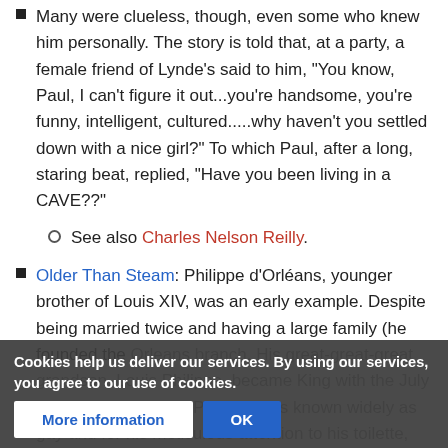Many were clueless, though, even some who knew him personally. The story is told that, at a party, a female friend of Lynde's said to him, "You know, Paul, I can't figure it out...you're handsome, you're funny, intelligent, cultured.....why haven't you settled down with a nice girl?" To which Paul, after a long, staring beat, replied, "Have you been living in a CAVE??"
See also Charles Nelson Reilly.
Older Than Steam: Philippe d'Orléans, younger brother of Louis XIV, was an early example. Despite being married twice and having a large family (he founded the Orleans branch. His great-great-great grandson, Louis Philippe, became King with the July Revolution of 1830), Philippe was known widely as gay and for his meticulous attention to his toilette, including lavish use
Cookies help us deliver our services. By using our services, you agree to our use of cookies.